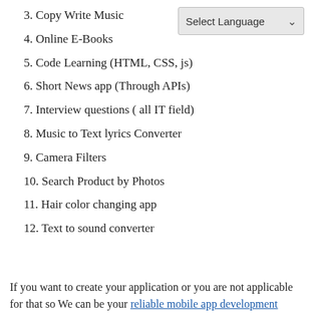3. Copy Write Music
[Figure (other): Select Language dropdown widget in top right corner]
4. Online E-Books
5. Code Learning (HTML, CSS, js)
6. Short News app (Through APIs)
7. Interview questions ( all IT field)
8. Music to Text lyrics Converter
9. Camera Filters
10. Search Product by Photos
11. Hair color changing app
12. Text to sound converter
If you want to create your application or you are not applicable for that so We can be your reliable mobile app development